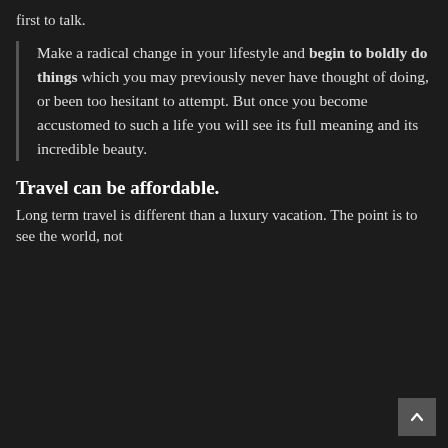first to talk.
Make a radical change in your lifestyle and begin to boldly do things which you may previously never have thought of doing, or been too hesitant to attempt. But once you become accustomed to such a life you will see its full meaning and its incredible beauty.
Travel can be affordable.
Long term travel is different than a luxury vacation. The point is to see the world, not